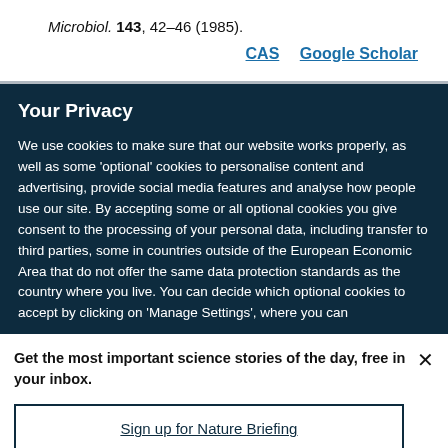Microbiol. 143, 42–46 (1985).
CAS   Google Scholar
Your Privacy
We use cookies to make sure that our website works properly, as well as some 'optional' cookies to personalise content and advertising, provide social media features and analyse how people use our site. By accepting some or all optional cookies you give consent to the processing of your personal data, including transfer to third parties, some in countries outside of the European Economic Area that do not offer the same data protection standards as the country where you live. You can decide which optional cookies to accept by clicking on 'Manage Settings', where you can
Get the most important science stories of the day, free in your inbox.
Sign up for Nature Briefing